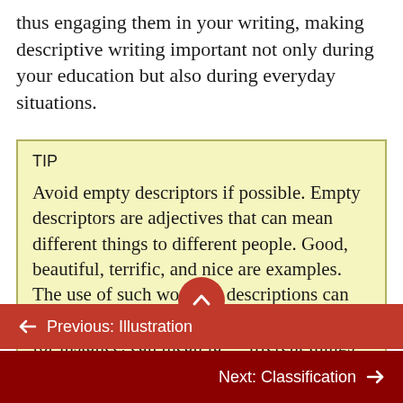thus engaging them in your writing, making descriptive writing important not only during your education but also during everyday situations.
TIP
Avoid empty descriptors if possible. Empty descriptors are adjectives that can mean different things to different people. Good, beautiful, terrific, and nice are examples. The use of such words in descriptions can lead to misreads and confusion. A good day, for instance, can mean far different things
← Previous: Illustration
Next: Classification →